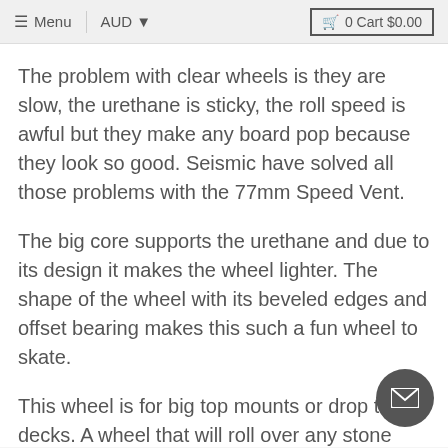≡ Menu | AUD ▾  🛒 0 Cart $0.00
The problem with clear wheels is they are slow, the urethane is sticky, the roll speed is awful but they make any board pop because they look so good. Seismic have solved all those problems with the 77mm Speed Vent.
The big core supports the urethane and due to its design it makes the wheel lighter. The shape of the wheel with its beveled edges and offset bearing makes this such a fun wheel to skate.
This wheel is for big top mounts or drop thru decks. A wheel that will roll over any stone cracks. Wheel shape digs into any carve and helps you bounce out with more energy. The